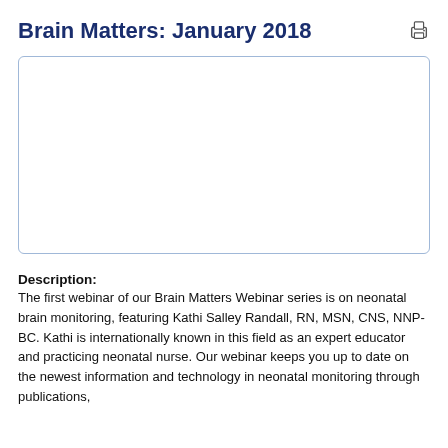Brain Matters: January 2018
[Figure (other): Embedded video player box, empty/white with blue border and rounded corners]
Description:
The first webinar of our Brain Matters Webinar series is on neonatal brain monitoring, featuring Kathi Salley Randall, RN, MSN, CNS, NNP-BC. Kathi is internationally known in this field as an expert educator and practicing neonatal nurse. Our webinar keeps you up to date on the newest information and technology in neonatal monitoring through publications,